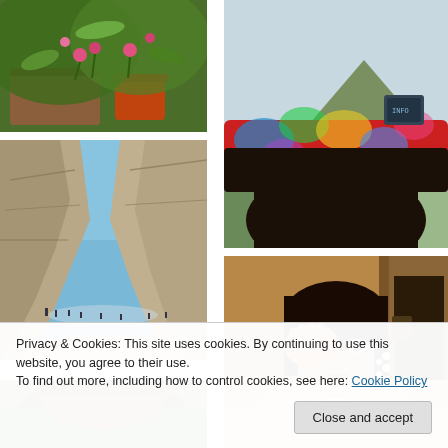[Figure (photo): Potted plants with pink flowers and greenery in wooden boxes outdoors]
[Figure (photo): Person wearing a colorful tie-dye visor/sun visor outdoors with mountains in background]
[Figure (photo): Large rock cliffs on a beach with people visible at base, blue sky]
[Figure (photo): Young woman in traditional Indian attire covering one eye with her hand, wearing floral earrings]
[Figure (photo): Partially visible photo at bottom left, appears to be a person outdoors]
[Figure (photo): Partially visible photo at bottom right, appears to be a smiling person]
Privacy & Cookies: This site uses cookies. By continuing to use this website, you agree to their use.
To find out more, including how to control cookies, see here: Cookie Policy
Close and accept